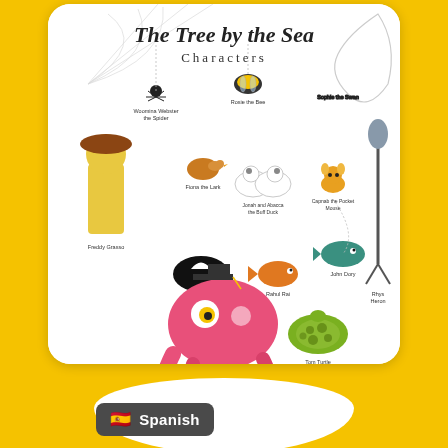[Figure (illustration): Book cover illustration for 'The Tree by the Sea - Characters' showing colorful cartoon characters: a spider labeled 'Woomina Webster the Spider', a bee labeled 'Rosie Bee', a bird labeled 'Fiona the Lark', two ducks labeled 'Jonah and Abacca the Buff Duck', a mouse labeled 'Capnab the Pocket Mouse', a fish labeled 'John Dory', a skunk labeled 'Mabey the Skunk', a fish labeled 'Rahul Rai', a turtle labeled 'Tom Turtle', a heron labeled 'Rhys Heron', an octopus labeled 'Professor Octo the Octopus', and a scarecrow labeled 'Freddy Grasso'. Title reads 'The Tree by the Sea Characters' at the top.]
[Figure (illustration): White speech bubble / rounded rectangle shape below the book card]
🇪🇸 Spanish